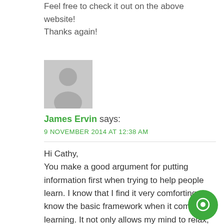Feel free to check it out on the above website! Thanks again!
[Figure (illustration): Gray avatar/profile placeholder icon showing a silhouette of a person]
James Ervin says:
9 NOVEMBER 2014 AT 12:38 AM
Hi Cathy,
You make a good argument for putting information first when trying to help people learn. I know that I find it very comforting to know the basic framework when it comes to learning. It not only allows my mind to relax, but it also helps prevent those distracting thoughts about what is going to happen next.
While designing the learning environment to fit a